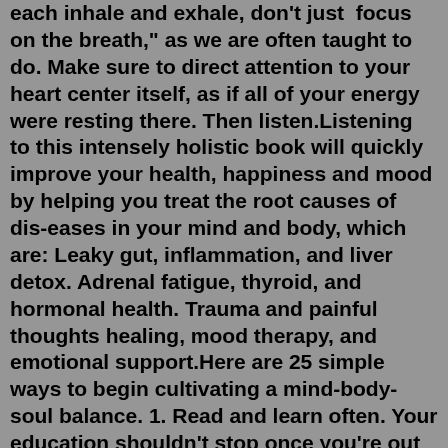each inhale and exhale, don't just focus on the breath," as we are often taught to do. Make sure to direct attention to your heart center itself, as if all of your energy were resting there. Then listen.Listening to this intensely holistic book will quickly improve your health, happiness and mood by helping you treat the root causes of dis-eases in your mind and body, which are: Leaky gut, inflammation, and liver detox. Adrenal fatigue, thyroid, and hormonal health. Trauma and painful thoughts healing, mood therapy, and emotional support.Here are 25 simple ways to begin cultivating a mind-body-soul balance. 1. Read and learn often. Your education shouldn't stop once you're out of school. Open your mind to new possibilities, beliefs, and interests by reading, taking online classes, watching documentaries, and attending workshops. 2. Meditate regularly.There are many other professionals who can help you such as therapists and doctors who specialize in certain areas of the body or mind. Your healing journey will not be the same as others. You are not the only person who